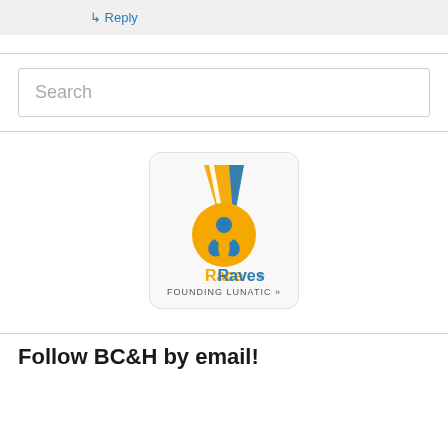↳ Reply
Search
[Figure (logo): RaceRaves logo with medal graphic showing orange and blue runner, text reads 'RaceRaves® FOUNDING LUNATIC»']
Follow BC&H by email!